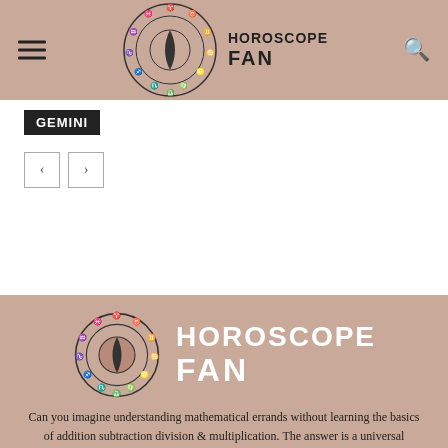HOROSCOPE FAN
GEMINI
[Figure (logo): Horoscope Fan logo with zodiac wheel and text HOROSCOPE FAN]
Can you imagine understanding mathematical errands without learning the basics of addition subtraction division & multiplication. The answer is a universal number, so this is what our zodiac signs are for each one of us. Our zodiac can give you so many intricate characteristics about us to